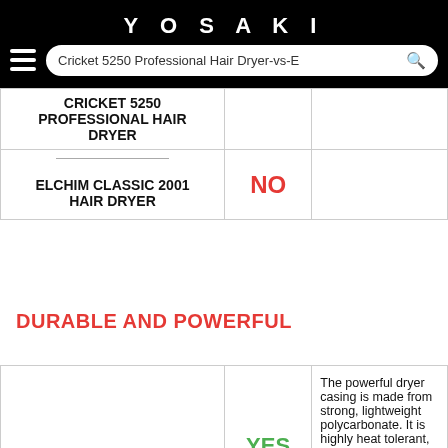YOSAKI
| Product | Yes/No | Description |
| --- | --- | --- |
| CRICKET 5250 PROFESSIONAL HAIR DRYER | NO |  |
| ELCHIM CLASSIC 2001 HAIR DRYER |  |  |
DURABLE AND POWERFUL
| Product | Yes/No | Description |
| --- | --- | --- |
| CRICKET 5250 PROFESSIONAL HAIR DRYER | YES | The powerful dryer casing is made from strong, lightweight polycarbonate. It is highly heat tolerant, high impact resistant, and scratch-resistant. Our dryers are made to last, working up to |